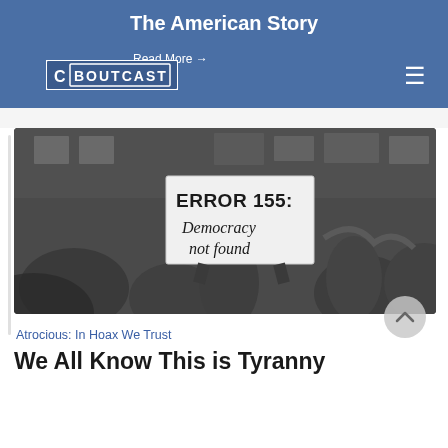The American Story
Read More →
[Figure (logo): CBOutcast logo in white on blue background]
[Figure (photo): Black and white protest photo. A person holds a sign reading 'ERROR 155: Democracy not found' amid a crowd of demonstrators in front of a building.]
Atrocious: In Hoax We Trust
We All Know This is Tyranny